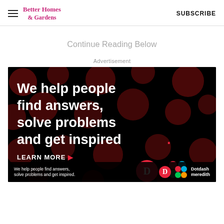Better Homes & Gardens | SUBSCRIBE
Continue Reading Below
Advertisement
[Figure (illustration): Dark advertisement banner with dark red polka dots on black background. White bold text reads 'We help people find answers, solve problems and get inspired.' with a red period. Below: 'LEARN MORE' in white with red arrow, and Dotdash Meredith logo icons. Bottom bar repeats tagline with Dotdash Meredith branding.]